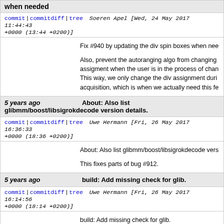when needed
commit | commitdiff | tree   Soeren Apel [Wed, 24 May 2017 11:44:43 +0000 (13:44 +0200)]
Fix #940 by updating the div spin boxes when needed

Also, prevent the autoranging algo from changing assigment when the user is in the process of changing. This way, we only change the div assignment during acquisition, which is when we actually need this feature.
5 years ago   About: Also list glibmm/boost/libsigrokdecode version details.
commit | commitdiff | tree   Uwe Hermann [Fri, 26 May 2017 16:36:33 +0000 (18:36 +0200)]
About: Also list glibmm/boost/libsigrokdecode version details.

This fixes parts of bug #912.
5 years ago   build: Add missing check for glib.
commit | commitdiff | tree   Uwe Hermann [Fri, 26 May 2017 16:14:56 +0000 (18:14 +0200)]
build: Add missing check for glib.

PulseView uses glib directly (in addition to indirectly...